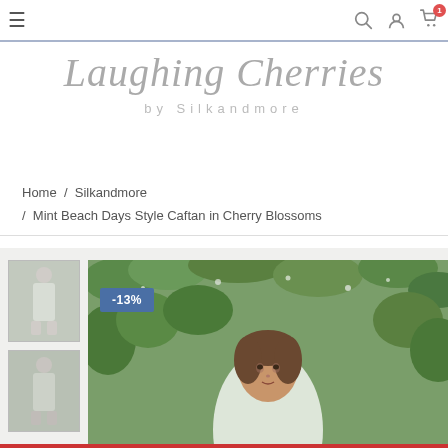Navigation bar with hamburger menu, search, user, and cart icons
Laughing Cherries by Silkandmore
Home / Silkandmore / Mint Beach Days Style Caftan in Cherry Blossoms
[Figure (photo): Product page showing a woman in a mint caftan with cherry blossom print, standing among green foliage. Two thumbnail images on the left and a main product photo with -13% discount badge.]